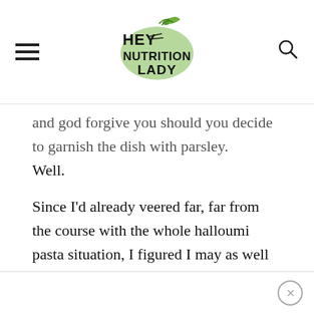HEY NUTRITION LADY
and god forgive you should you decide to garnish the dish with parsley.
Well.
Since I'd already veered far, far from the course with the whole halloumi pasta situation, I figured I may as well go all in, and added not only parsley, but peas as well. Here's what you need:
×